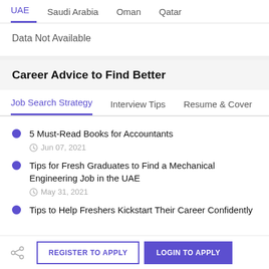UAE | Saudi Arabia | Oman | Qatar
Data Not Available
Career Advice to Find Better
Job Search Strategy | Interview Tips | Resume & Cover
5 Must-Read Books for Accountants
Jun 07, 2021
Tips for Fresh Graduates to Find a Mechanical Engineering Job in the UAE
May 31, 2021
Tips to Help Freshers Kickstart Their Career Confidently
REGISTER TO APPLY   LOGIN TO APPLY